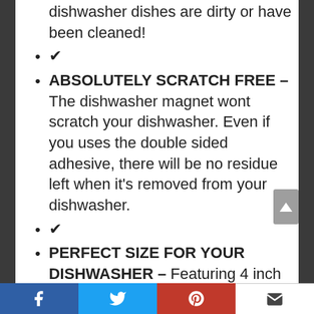dishwasher dishes are dirty or have been cleaned!
✔
ABSOLUTELY SCRATCH FREE – The dishwasher magnet wont scratch your dishwasher. Even if you uses the double sided adhesive, there will be no residue left when it's removed from your dishwasher.
✔
PERFECT SIZE FOR YOUR DISHWASHER – Featuring 4 inch diameter and classic silver color, the clean dirty sign looks great on
Facebook Twitter Pinterest Email